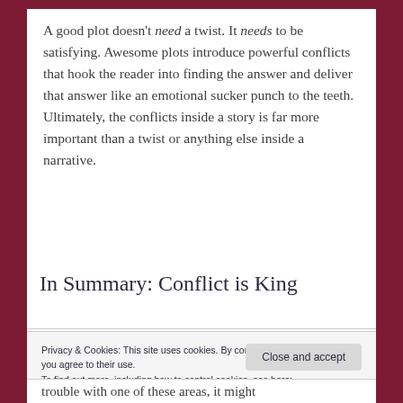A good plot doesn't need a twist. It needs to be satisfying. Awesome plots introduce powerful conflicts that hook the reader into finding the answer and deliver that answer like an emotional sucker punch to the teeth. Ultimately, the conflicts inside a story is far more important than a twist or anything else inside a narrative.
In Summary: Conflict is King
Privacy & Cookies: This site uses cookies. By continuing to use this website, you agree to their use.
To find out more, including how to control cookies, see here:
Cookie Policy
trouble with one of these areas, it might